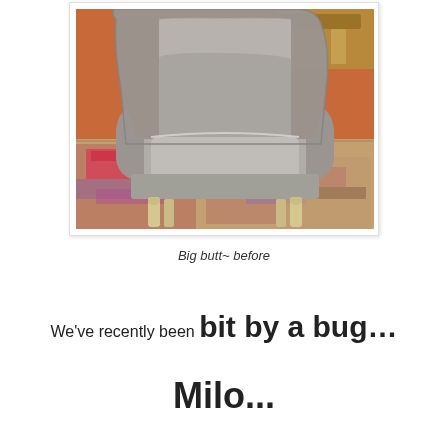[Figure (photo): A gray upholstered wingback armchair photographed before restoration. The chair sits on a colorful patterned rug with pink, red, and purple tones. The background shows an orange wall and a wooden piece of furniture. The chair has white/cream carved wooden legs visible at the bottom.]
Big butt~ before
We've recently been bit by a bug…
Milo...